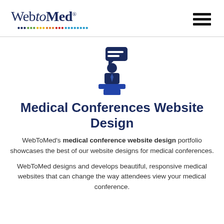[Figure (logo): WebToMed logo with colorful dotted underline and hamburger menu icon]
[Figure (illustration): Dark blue icon of a person at a podium with a speech/chat bubble above]
Medical Conferences Website Design
WebToMed's medical conference website design portfolio showcases the best of our website designs for medical conferences.
WebToMed designs and develops beautiful, responsive medical websites that can change the way attendees view your medical conference.